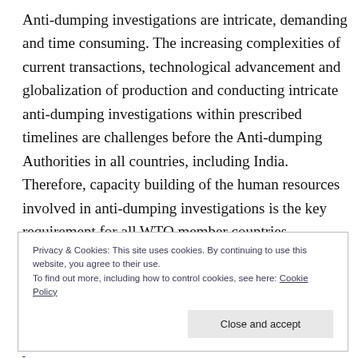Anti-dumping investigations are intricate, demanding and time consuming. The increasing complexities of current transactions, technological advancement and globalization of production and conducting intricate anti-dumping investigations within prescribed timelines are challenges before the Anti-dumping Authorities in all countries, including India. Therefore, capacity building of the human resources involved in anti-dumping investigations is the key requirement for all WTO member countries.
Privacy & Cookies: This site uses cookies. By continuing to use this website, you agree to their use. To find out more, including how to control cookies, see here: Cookie Policy
Close and accept